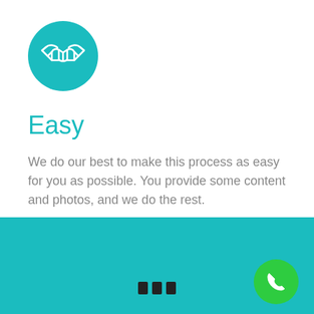[Figure (illustration): Teal circular icon with white handshake symbol inside]
Easy
We do our best to make this process as easy for you as possible. You provide some content and photos, and we do the rest.
[Figure (illustration): Three small dark rectangular navigation indicator bars centered at the bottom of the teal section]
[Figure (illustration): Green circular button with white telephone/call icon in the bottom right corner]